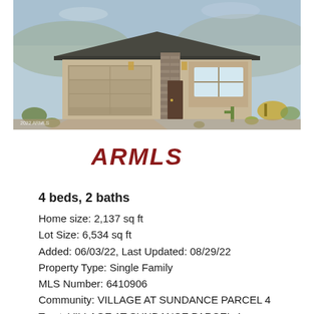[Figure (photo): Exterior rendering of a single-family desert home with tan stucco, stone accents, dark roof, two-car garage, and desert landscaping. Watermark: 2022 ARMLS in bottom-left corner.]
[Figure (logo): ARMLS logo in bold dark red italic text]
4 beds, 2 baths
Home size: 2,137 sq ft
Lot Size: 6,534 sq ft
Added: 06/03/22, Last Updated: 08/29/22
Property Type: Single Family
MLS Number: 6410906
Community: VILLAGE AT SUNDANCE PARCEL 4
Tract: VILLAGE AT SUNDANCE PARCEL 4